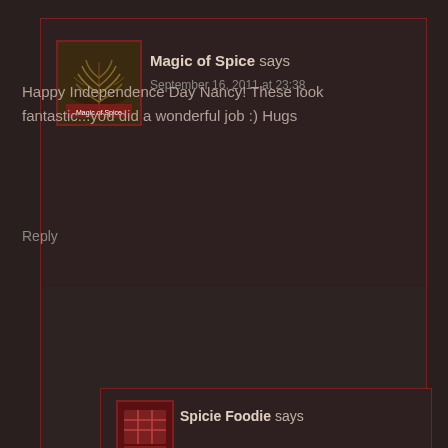Magic of Spice says
September 16, 2011 at 23:38
Happy Independence Day Nancy! These look fantastic...you did a wonderful job :) Hugs
Reply
Spicie Foodie says